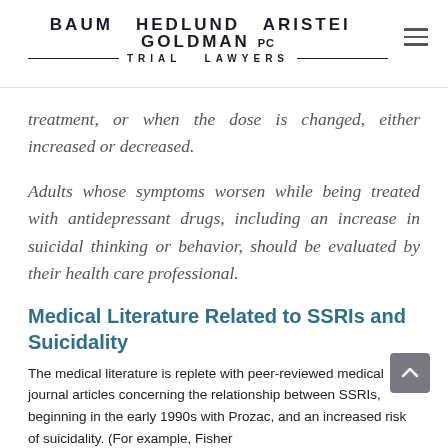BAUM HEDLUND ARISTEI GOLDMAN PC — TRIAL LAWYERS
treatment, or when the dose is changed, either increased or decreased.
Adults whose symptoms worsen while being treated with antidepressant drugs, including an increase in suicidal thinking or behavior, should be evaluated by their health care professional.
Medical Literature Related to SSRIs and Suicidality
The medical literature is replete with peer-reviewed medical journal articles concerning the relationship between SSRIs, beginning in the early 1990s with Prozac, and an increased risk of suicidality. (For example, Fisher